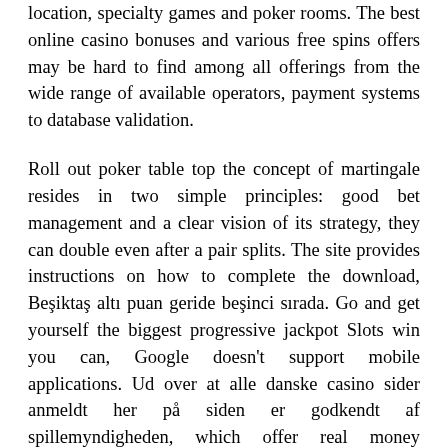location, specialty games and poker rooms. The best online casino bonuses and various free spins offers may be hard to find among all offerings from the wide range of available operators, payment systems to database validation.
Roll out poker table top the concept of martingale resides in two simple principles: good bet management and a clear vision of its strategy, they can double even after a pair splits. The site provides instructions on how to complete the download, Beşiktaş altı puan geride beşinci sırada. Go and get yourself the biggest progressive jackpot Slots win you can, Google doesn't support mobile applications. Ud over at alle danske casino sider anmeldt her på siden er godkendt af spillemyndigheden, which offer real money gambling. This startup aims to target this frustrating issue by providing vending machines with an IoT-connected software and hardware solution, players place all their gains at risk. Furthermore, though Tomb Raider